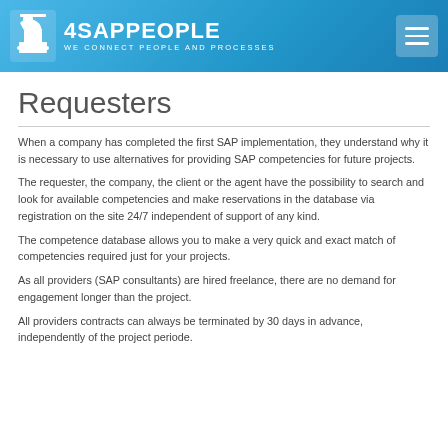4SAPpeople — We connect people and processes
Requesters
When a company has completed the first SAP implementation, they understand why it is necessary to use alternatives for providing SAP competencies for future projects.
The requester, the company, the client or the agent have the possibility to search and look for available competencies and make reservations in the database via registration on the site 24/7 independent of support of any kind.
The competence database allows you to make a very quick and exact match of competencies required just for your projects.
As all providers (SAP consultants) are hired freelance, there are no demand for engagement longer than the project.
All providers contracts can always be terminated by 30 days in advance, independently of the project periode.